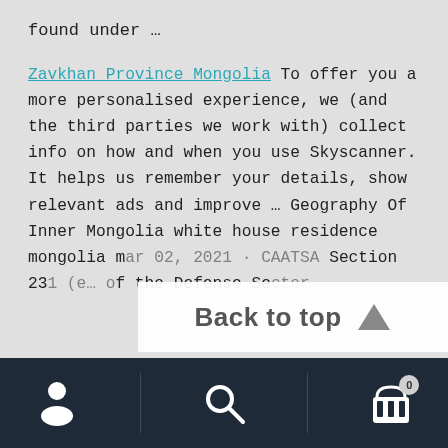found under …
Zavkhan Province Mongolia To offer you a more personalised experience, we (and the third parties we work with) collect info on how and when you use Skyscanner. It helps us remember your details, show relevant ads and improve … Geography Of Inner Mongolia white house residence mongolia mar 02, 2021 · CAATSA Section 231 (e… of the Defense Sector
Back to top
Navigation bar with user, search, and cart icons